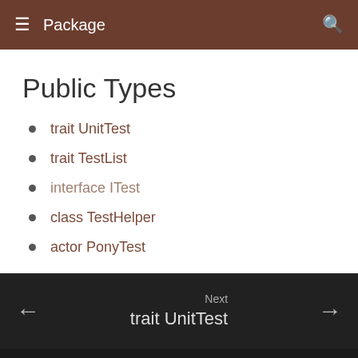Package
Public Types
trait UnitTest
trait TestList
interface ITest
class TestHelper
actor PonyTest
Next trait UnitTest
powered by MkDocs and Material for MkDocs